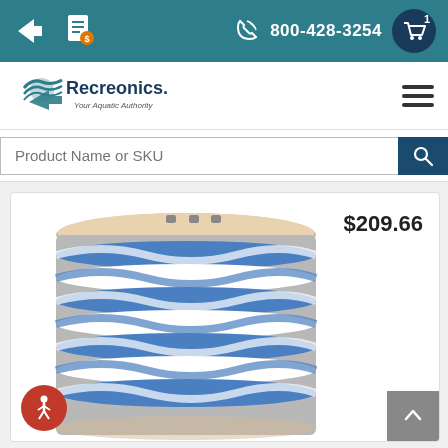800-428-3254
[Figure (logo): Recreonics logo — Your Aquatic Authority]
Product Name or SKU
$209.66
[Figure (photo): Large spool of blue and white twisted rope on a wooden spool]